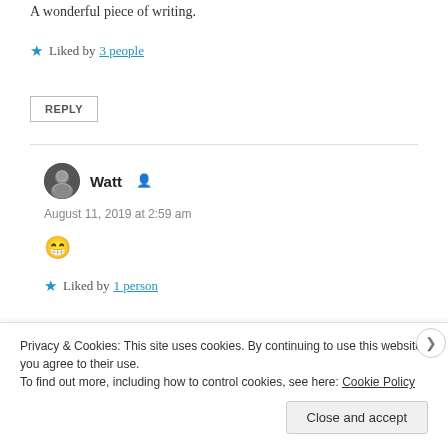A wonderful piece of writing.
★ Liked by 3 people
REPLY
Watt
August 11, 2019 at 2:59 am
😁
★ Liked by 1 person
Privacy & Cookies: This site uses cookies. By continuing to use this website, you agree to their use. To find out more, including how to control cookies, see here: Cookie Policy
Close and accept